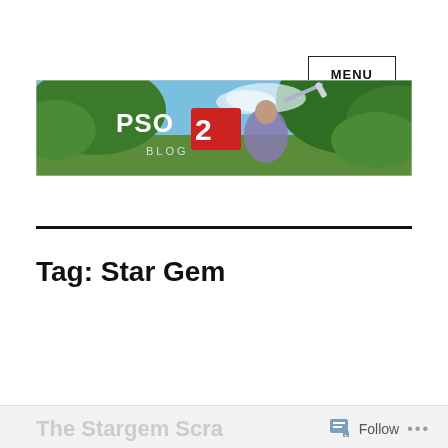MENU
[Figure (illustration): PSO2 Blog banner image showing a female character holding a sword in a lush green outdoor environment, with the PSO2 BLOG logo overlaid on the left side.]
Tag: Star Gem
The Stargem Scra...
Follow ...